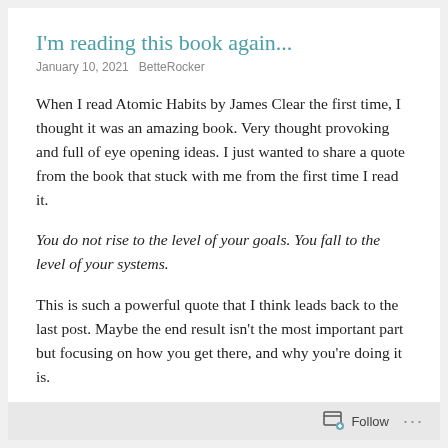I'm reading this book again...
January 10, 2021   BetteRocker
When I read Atomic Habits by James Clear the first time, I thought it was an amazing book. Very thought provoking and full of eye opening ideas. I just wanted to share a quote from the book that stuck with me from the first time I read it.
You do not rise to the level of your goals. You fall to the level of your systems.
This is such a powerful quote that I think leads back to the last post. Maybe the end result isn't the most important part but focusing on how you get there, and why you're doing it is.
Follow